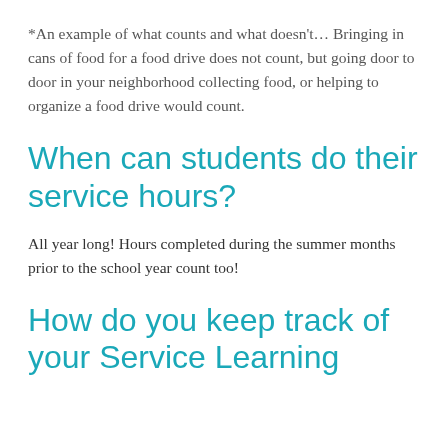*An example of what counts and what doesn't... Bringing in cans of food for a food drive does not count, but going door to door in your neighborhood collecting food, or helping to organize a food drive would count.
When can students do their service hours?
All year long! Hours completed during the summer months prior to the school year count too!
How do you keep track of your Service Learning